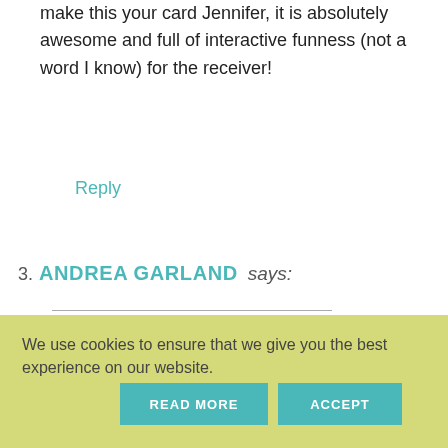make this your card Jennifer, it is absolutely awesome and full of interactive funness (not a word I know) for the receiver!
Reply
3. ANDREA GARLAND says:
| October 5, 2013 at 12:57 am
This is a fantastic idea, love all the details.
Reply
We use cookies to ensure that we give you the best experience on our website.
READ MORE
ACCEPT